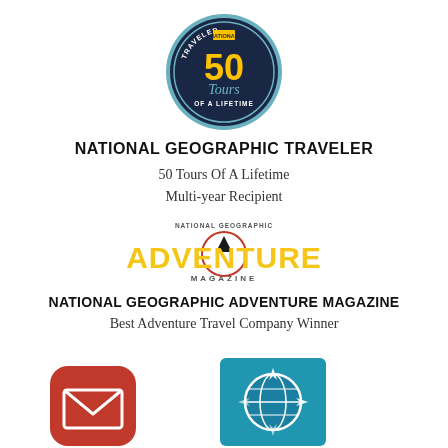[Figure (logo): National Geographic Traveler '50 Tours of a Lifetime' circular badge/seal with teal border, navy background, yellow '50' and white 'Tours of a Lifetime' text]
NATIONAL GEOGRAPHIC TRAVELER
50 Tours Of A Lifetime
Multi-year Recipient
[Figure (logo): National Geographic Adventure Magazine logo with yellow ADVENTURE text and red circle with mountain peak icon, MAGAZINE text below]
NATIONAL GEOGRAPHIC ADVENTURE MAGAZINE
Best Adventure Travel Company Winner
[Figure (logo): Red rounded-square email/mail app icon with white envelope]
[Figure (logo): Teal/blue square travel compass app icon with globe and compass arrow design]